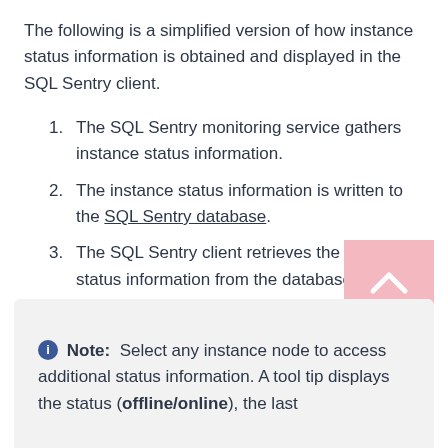The following is a simplified version of how instance status information is obtained and displayed in the SQL Sentry client.
The SQL Sentry monitoring service gathers instance status information.
The instance status information is written to the SQL Sentry database.
The SQL Sentry client retrieves the instance status information from the database and displays it.
Note: Select any instance node to access additional status information. A tool tip displays the status (offline/online), the last